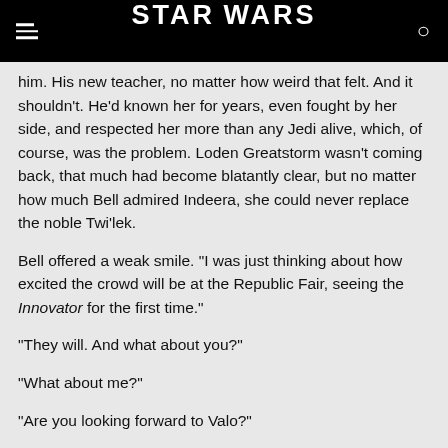STAR WARS
him. His new teacher, no matter how weird that felt. And it shouldn't. He'd known her for years, even fought by her side, and respected her more than any Jedi alive, which, of course, was the problem. Loden Greatstorm wasn't coming back, that much had become blatantly clear, but no matter how much Bell admired Indeera, she could never replace the noble Twi'lek.
Bell offered a weak smile. "I was just thinking about how excited the crowd will be at the Republic Fair, seeing the Innovator for the first time."
"They will. And what about you?"
"What about me?"
"Are you looking forward to Valo?"
He shifted uncomfortably, careful not to kick Ember who was nuzzling against his legs, her pelt warm through his